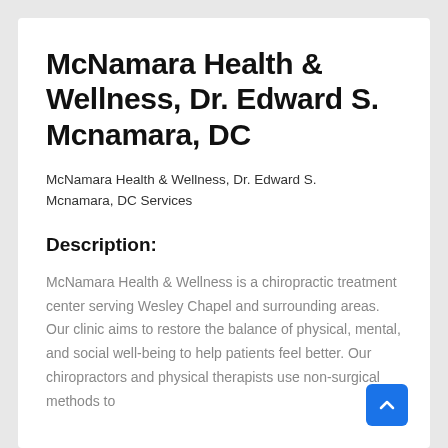McNamara Health & Wellness, Dr. Edward S. Mcnamara, DC
McNamara Health & Wellness, Dr. Edward S. Mcnamara, DC Services
Description:
McNamara Health & Wellness is a chiropractic treatment center serving Wesley Chapel and surrounding areas. Our clinic aims to restore the balance of physical, mental, and social well-being to help patients feel better. Our chiropractors and physical therapists use non-surgical methods to